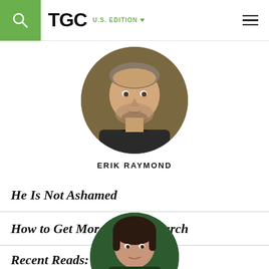TGC U.S. EDITION
[Figure (photo): Circular headshot photo of Erik Raymond, a man with short hair and a beard, smiling, wearing a dark jacket, with an outdoor autumn background]
ERIK RAYMOND
He Is Not Ashamed
How to Get More Out of Church
Recent Reads: April & May
[Figure (photo): Circular headshot photo of another author, partially visible at the bottom of the page, with a dark green background]